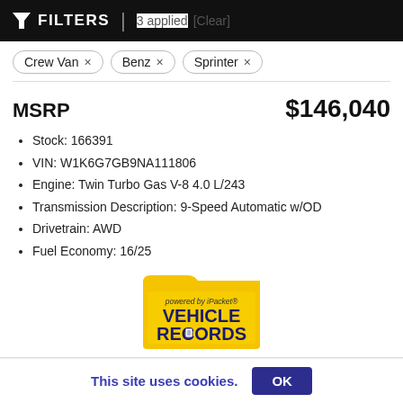FILTERS | 3 applied [Clear]
Crew Van ×
Benz ×
Sprinter ×
MSRP   $146,040
Stock: 166391
VIN: W1K6G7GB9NA111806
Engine: Twin Turbo Gas V-8 4.0 L/243
Transmission Description: 9-Speed Automatic w/OD
Drivetrain: AWD
Fuel Economy: 16/25
[Figure (logo): iPacket Vehicle Records logo - yellow folder with text 'powered by iPacket® VEHICLE RECORDS']
[Figure (infographic): Bottom navigation icons row: two car icons, a location pin icon, and a phone icon]
This site uses cookies.  OK